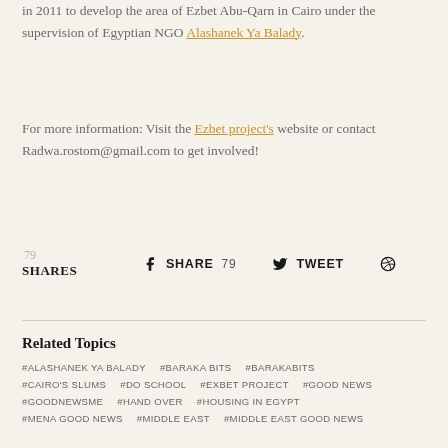in 2011 to develop the area of Ezbet Abu-Qarn in Cairo under the supervision of Egyptian NGO Alashanek Ya Balady.
For more information: Visit the Ezbet project's website or contact Radwa.rostom@gmail.com to get involved!
79 SHARES   SHARE 79   TWEET   [Pinterest icon]
Related Topics
#ALASHANEK YA BALADY
#BARAKA BITS
#BARAKABITS
#CAIRO'S SLUMS
#DO SCHOOL
#EXBET PROJECT
#GOOD NEWS
#GOODNEWSME
#HAND OVER
#HOUSING IN EGYPT
#MENA GOOD NEWS
#MIDDLE EAST
#MIDDLE EAST GOOD NEWS